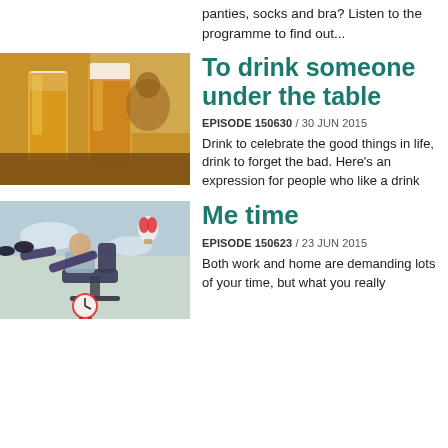panties, socks and bra? Listen to the programme to find out...
[Figure (photo): Two tall glasses of beer with a man in the background]
To drink someone under the table
EPISODE 150630 / 30 JUN 2015
Drink to celebrate the good things in life, drink to forget the bad. Here's an expression for people who like a drink
[Figure (photo): Person relaxing in office chair with feet up, red alarm clock, hot air balloon in sky]
Me time
EPISODE 150623 / 23 JUN 2015
Both work and home are demanding lots of your time, but what you really